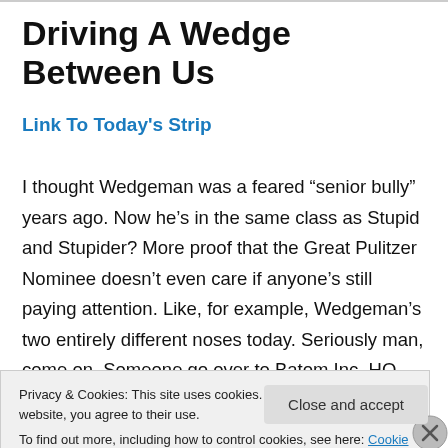Driving A Wedge Between Us
Link To Today's Strip
I thought Wedgeman was a feared “senior bully” years ago. Now he’s in the same class as Stupid and Stupider? More proof that the Great Pulitzer Nominee doesn’t even care if anyone’s still paying attention. Like, for example, Wedgeman’s two entirely different noses today. Seriously man, come on. Someone go over to Batom Inc. HQ and
Privacy & Cookies: This site uses cookies. By continuing to use this website, you agree to their use.
To find out more, including how to control cookies, see here: Cookie Policy